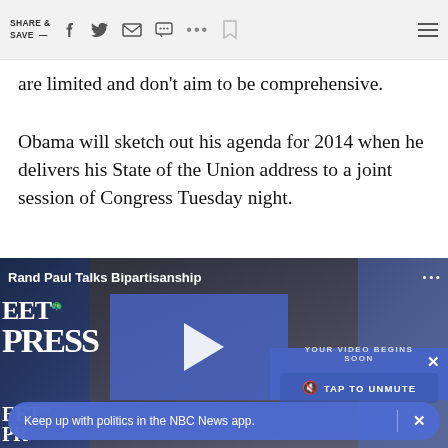SHARE & SAVE —  [social icons: Facebook, Twitter, Email, Message, More, Bookmark, Menu]
are limited and don't aim to be comprehensive.
Obama will sketch out his agenda for 2014 when he delivers his State of the Union address to a joint session of Congress Tuesday night.
[Figure (screenshot): Video player screenshot showing 'Rand Paul Talks Bipartisanship' with Meet the Press NBC branding, a blue play button overlay, and a 'TAP TO UNMUTE' ad overlay on the right side.]
Keep up with politics in the NBC News app.